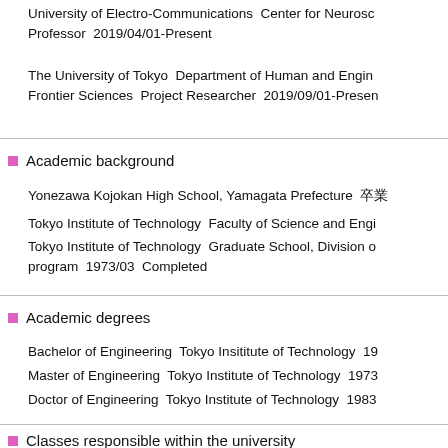University of Electro-Communications  Center for Neuroscience  Professor  2019/04/01-Present
The University of Tokyo  Department of Human and Environmental Sciences / Frontier Sciences  Project Researcher  2019/09/01-Present
Academic background
Yonezawa Kojokan High School, Yamagata Prefecture  卒業
Tokyo Institute of Technology  Faculty of Science and Engineering
Tokyo Institute of Technology  Graduate School, Division of  program  1973/03  Completed
Academic degrees
Bachelor of Engineering  Tokyo Insititute of Technology  19
Master of Engineering  Tokyo Institute of Technology  1973
Doctor of Engineering  Tokyo Institute of Technology  1983
Classes responsible within the university